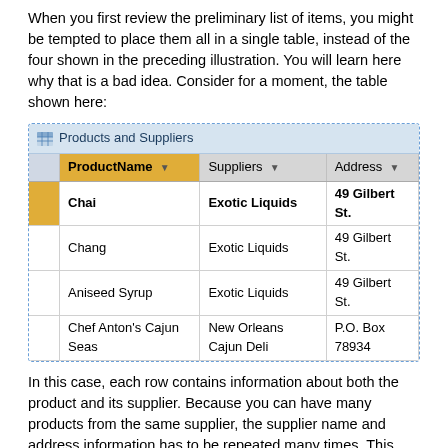When you first review the preliminary list of items, you might be tempted to place them all in a single table, instead of the four shown in the preceding illustration. You will learn here why that is a bad idea. Consider for a moment, the table shown here:
[Figure (screenshot): Screenshot of a database table titled 'Products and Suppliers' with columns ProductName, Suppliers, and Address. Rows: Chai / Exotic Liquids / 49 Gilbert St. (selected/highlighted); Chang / Exotic Liquids / 49 Gilbert St.; Aniseed Syrup / Exotic Liquids / 49 Gilbert St.; Chef Anton's Cajun Seas... / New Orleans Cajun Deli / P.O. Box 78934]
In this case, each row contains information about both the product and its supplier. Because you can have many products from the same supplier, the supplier name and address information has to be repeated many times. This wastes disk space. Recording the supplier information only once in a separate Suppliers table, and then linking that table to the Products table, is a much better solution.
A second problem with this design comes about when you need to modify information about the supplier. For example, suppose you need to change a supplier's address. Because it appears in many places, you might accidentally change the address in one